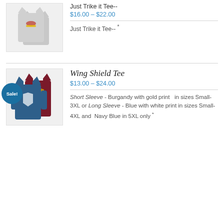[Figure (photo): Gray t-shirt with graphic print shown front and back]
Just Trike it Tee--
$16.00 – $22.00
Just Trike it Tee-- *
[Figure (photo): Burgundy and blue long sleeve shirts with shield graphic, Sale badge]
Wing Shield Tee
$13.00 – $24.00
Short Sleeve - Burgandy with gold print   in sizes Small-3XL or Long Sleeve - Blue with white print in sizes Small-4XL and  Navy Blue in 5XL only *